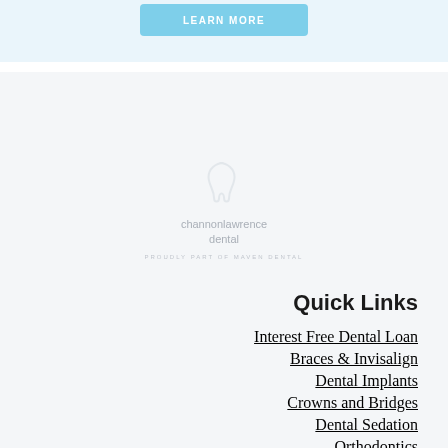LEARN MORE
[Figure (logo): Channon Lawrence Dental logo with tooth icon and text 'channonlawrence dental' and tagline 'PROUDLY PART OF MAVEN DENTAL']
Quick Links
Interest Free Dental Loan
Braces & Invisalign
Dental Implants
Crowns and Bridges
Dental Sedation
Orthodontics
Teeth Whitening
Blog
Gallery